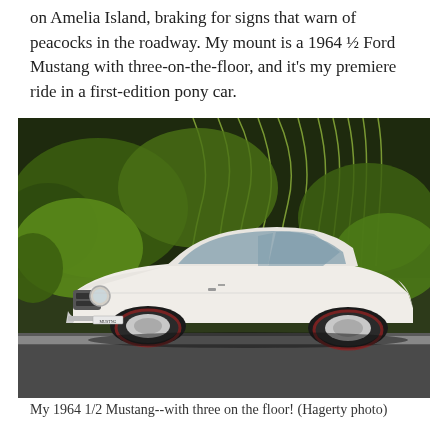on Amelia Island, braking for signs that warn of peacocks in the roadway. My mount is a 1964 ½ Ford Mustang with three-on-the-floor, and it's my premiere ride in a first-edition pony car.
[Figure (photo): A white 1964½ Ford Mustang coupe parked on a road, photographed from a low front-three-quarter angle. Lush green weeping willow and other trees fill the background. The car is cream/white with chrome trim, red-stripe tires, and chrome wheels.]
My 1964 1/2 Mustang--with three on the floor! (Hagerty photo)